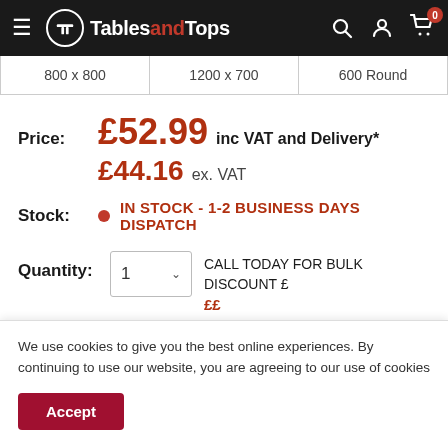TablesandTops
800 x 800 | 1200 x 700 | 600 Round
Price: £52.99 inc VAT and Delivery*
£44.16 ex. VAT
Stock: IN STOCK - 1-2 BUSINESS DAYS DISPATCH
Quantity: 1 CALL TODAY FOR BULK DISCOUNT £ ££
We use cookies to give you the best online experiences. By continuing to use our website, you are agreeing to our use of cookies
Accept